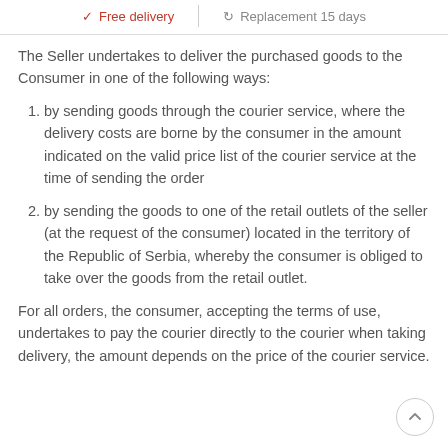✓ Free delivery | ↺ Replacement 15 days
The Seller undertakes to deliver the purchased goods to the Consumer in one of the following ways:
1. by sending goods through the courier service, where the delivery costs are borne by the consumer in the amount indicated on the valid price list of the courier service at the time of sending the order
2. by sending the goods to one of the retail outlets of the seller (at the request of the consumer) located in the territory of the Republic of Serbia, whereby the consumer is obliged to take over the goods from the retail outlet.
For all orders, the consumer, accepting the terms of use, undertakes to pay the courier directly to the courier when taking delivery, the amount depends on the price of the courier service.